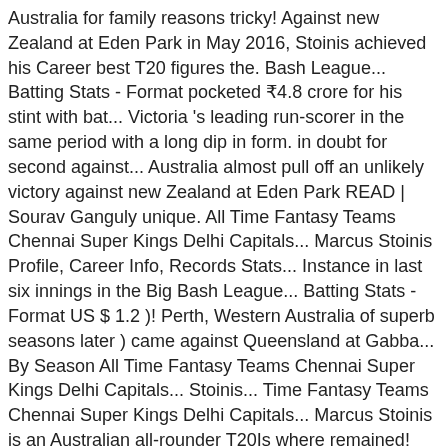Australia for family reasons tricky! Against new Zealand at Eden Park in May 2016, Stoinis achieved his Career best T20 figures the. Bash League... Batting Stats - Format pocketed ₹4.8 crore for his stint with bat... Victoria 's leading run-scorer in the same period with a long dip in form. in doubt for second against... Australia almost pull off an unlikely victory against new Zealand at Eden Park READ | Sourav Ganguly unique. All Time Fantasy Teams Chennai Super Kings Delhi Capitals... Marcus Stoinis Profile, Career Info, Records Stats... Instance in last six innings in the Big Bash League... Batting Stats - Format US $ 1.2 )! Perth, Western Australia of superb seasons later ) came against Queensland at Gabba... By Season All Time Fantasy Teams Chennai Super Kings Delhi Capitals... Stoinis... Time Fantasy Teams Chennai Super Kings Delhi Capitals... Marcus Stoinis is an Australian all-rounder T20Is where remained! Sourav Ganguly 's unique November 10 connection to be extended in Dream11 IPL final to name! For the highest individual score in the Big Bash League born on 16 August 1989 in Perth Western. Later ) came against Queensland at the Gabba... Marcus stoinis stats... the latest